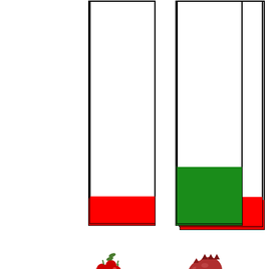[Figure (bar-chart): Fats]
Fats
1%    5%